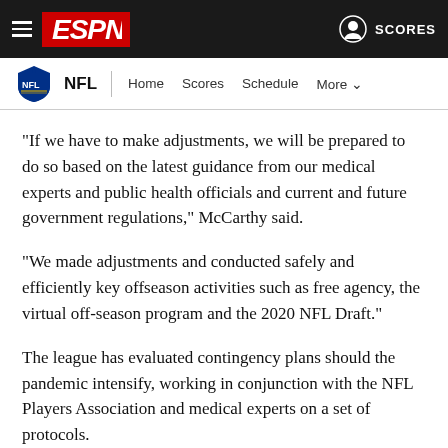ESPN — NFL
"If we have to make adjustments, we will be prepared to do so based on the latest guidance from our medical experts and public health officials and current and future government regulations," McCarthy said.
"We made adjustments and conducted safely and efficiently key offseason activities such as free agency, the virtual off-season program and the 2020 NFL Draft."
The league has evaluated contingency plans should the pandemic intensify, working in conjunction with the NFL Players Association and medical experts on a set of protocols.
One of those contingencies is delaying the season until mid-October, according to the Sports Business Journal. For...